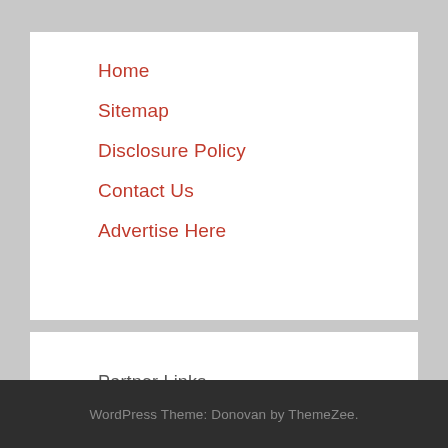Home
Sitemap
Disclosure Policy
Contact Us
Advertise Here
Partner Links
WordPress Theme: Donovan by ThemeZee.